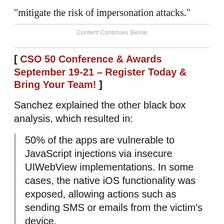“mitigate the risk of impersonation attacks.”
Content Continues Below
[ CSO 50 Conference & Awards September 19-21 – Register Today & Bring Your Team! ]
Sanchez explained the other black box analysis, which resulted in:
50% of the apps are vulnerable to JavaScript injections via insecure UIWebView implementations. In some cases, the native iOS functionality was exposed, allowing actions such as sending SMS or emails from the victim’s device.